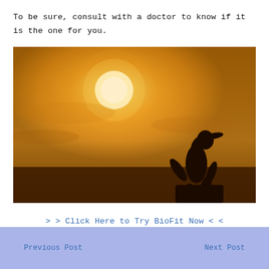To be sure, consult with a doctor to know if it is the one for you.
[Figure (photo): Silhouette of a woman running against a golden sunset sky with bright sun in the background]
> > Click Here to Try BioFit Now < <
Previous Post    Next Post